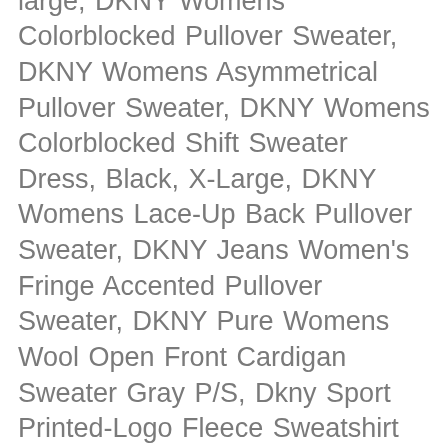Small, Medium, Large, Extra large, DKNY Womens Colorblocked Pullover Sweater, DKNY Womens Asymmetrical Pullover Sweater, DKNY Womens Colorblocked Shift Sweater Dress, Black, X-Large, DKNY Womens Lace-Up Back Pullover Sweater, DKNY Jeans Women's Fringe Accented Pullover Sweater, DKNY Pure Womens Wool Open Front Cardigan Sweater Gray P/S, Dkny Sport Printed-Logo Fleece Sweatshirt X-Small, Black, DKNY Womens Colorblock Crew Neck Pullover Sweater Black XL, DKNY Womens Black Metallic Bell Sleeve Crew Neck Cocktail Sweater Size XS, DKNY Womens Gray Striped Long Sleeve Crew Neck Sweater Size L, DKNY Womens Sequined Long Sleeves Cardigan Sweater, DKNY Womens Cold Shoulder Metallic Pullover Sweater, Dkny Womens Beaded Balloon-Sleeve Sweatshirt, DKNY Womens Beaded Cutout Pullover Sweater, DKNY Sport Mock Neck Half-Zip Top-S-White, Dkny Womens Logo-Graphic Sweatshirt Medium, Iceberg, DKNY Jeans Ladies' Rhinestone Embellished